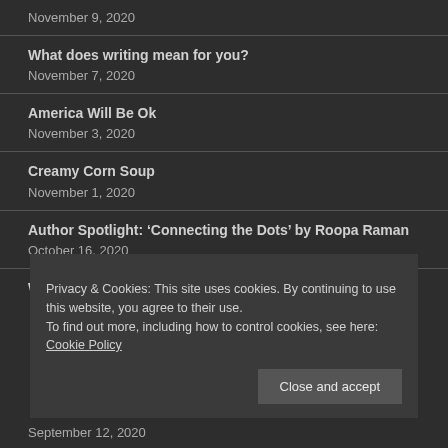November 9, 2020
What does writing mean for you?
November 7, 2020
America Will Be Ok
November 3, 2020
Creamy Corn Soup
November 1, 2020
Author Spotlight: ‘Connecting the Dots’ by Roopa Raman
October 16, 2020
World Animal Day October 4, 2020
Privacy & Cookies: This site uses cookies. By continuing to use this website, you agree to their use.
To find out more, including how to control cookies, see here: Cookie Policy
September 12, 2020